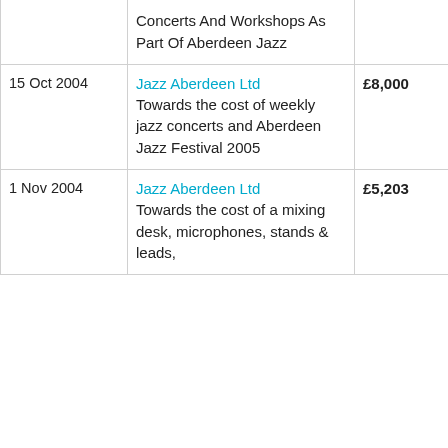| Date | Organisation / Description | Amount | Funder |
| --- | --- | --- | --- |
|  | Concerts And Workshops As Part Of Aberdeen Jazz |  |  |
| 15 Oct 2004 | Jazz Aberdeen Ltd
Towards the cost of weekly jazz concerts and Aberdeen Jazz Festival 2005 | £8,000 | Scottish Arts |
| 1 Nov 2004 | Jazz Aberdeen Ltd
Towards the cost of a mixing desk, microphones, stands & leads, | £5,203 | Scottish Arts |